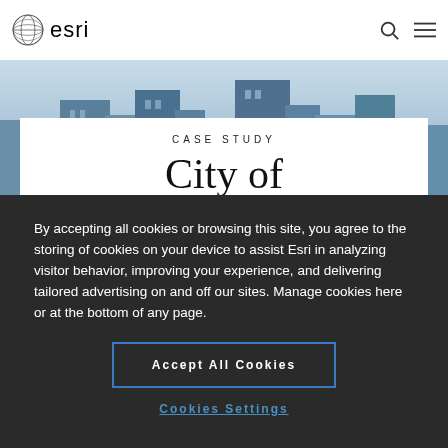[Figure (logo): Esri globe logo and wordmark in header]
[Figure (photo): City skyline background photo with tall buildings]
CASE STUDY
City of
By accepting all cookies or browsing this site, you agree to the storing of cookies on your device to assist Esri in analyzing visitor behavior, improving your experience, and delivering tailored advertising on and off our sites. Manage cookies here or at the bottom of any page.
Accept All Cookies
Cookies Settings